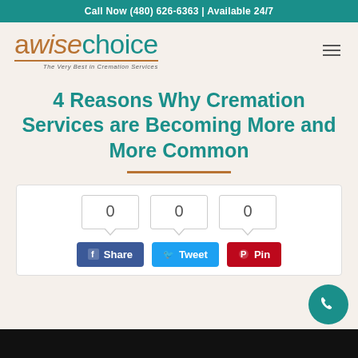Call Now (480) 626-6363 | Available 24/7
[Figure (logo): A Wise Choice cremation services logo with tagline 'The Very Best in Cremation Services']
4 Reasons Why Cremation Services are Becoming More and More Common
[Figure (infographic): Social share widget with three count boxes showing 0 each, and three share buttons: Share (Facebook, blue), Tweet (Twitter, light blue), Pin (Pinterest, red)]
[Figure (photo): Partial black image at bottom of page, content not visible]